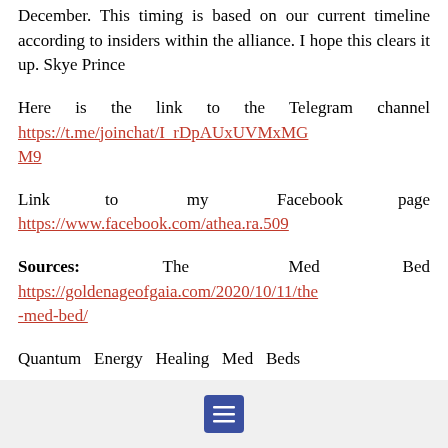December. This timing is based on our current timeline according to insiders within the alliance. I hope this clears it up. Skye Prince
Here is the link to the Telegram channel https://t.me/joinchat/I_rDpAUxUVMxMGM9
Link to my Facebook page https://www.facebook.com/athea.ra.509
Sources: The Med Bed https://goldenageofgaia.com/2020/10/11/the-med-bed/
Quantum Energy Healing Med Beds